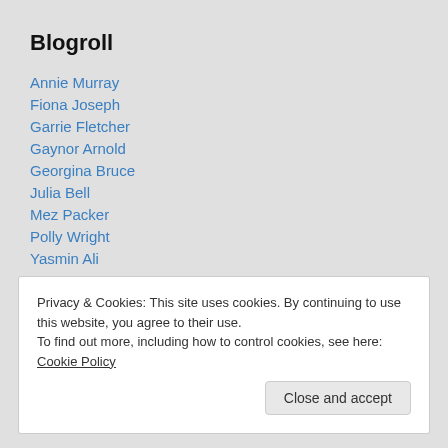Blogroll
Annie Murray
Fiona Joseph
Garrie Fletcher
Gaynor Arnold
Georgina Bruce
Julia Bell
Mez Packer
Polly Wright
Yasmin Ali
Privacy & Cookies: This site uses cookies. By continuing to use this website, you agree to their use. To find out more, including how to control cookies, see here: Cookie Policy
Close and accept